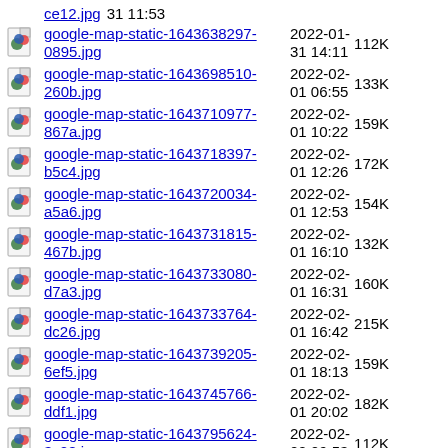google-map-static-1643638297-0895.jpg  2022-01-31 14:11  112K
google-map-static-1643698510-260b.jpg  2022-02-01 06:55  133K
google-map-static-1643710977-867a.jpg  2022-02-01 10:22  159K
google-map-static-1643718397-b5c4.jpg  2022-02-01 12:26  172K
google-map-static-1643720034-a5a6.jpg  2022-02-01 12:53  154K
google-map-static-1643731815-467b.jpg  2022-02-01 16:10  132K
google-map-static-1643733080-d7a3.jpg  2022-02-01 16:31  160K
google-map-static-1643733764-dc26.jpg  2022-02-01 16:42  215K
google-map-static-1643739205-6ef5.jpg  2022-02-01 18:13  159K
google-map-static-1643745766-ddf1.jpg  2022-02-01 20:02  182K
google-map-static-1643795624-3c28.jpg  2022-02-02 09:53  112K